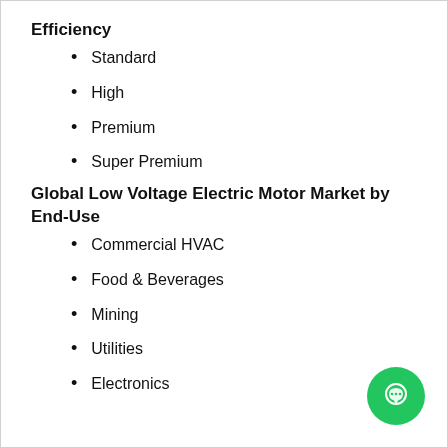Efficiency
Standard
High
Premium
Super Premium
Global Low Voltage Electric Motor Market by End-Use
Commercial HVAC
Food & Beverages
Mining
Utilities
Electronics